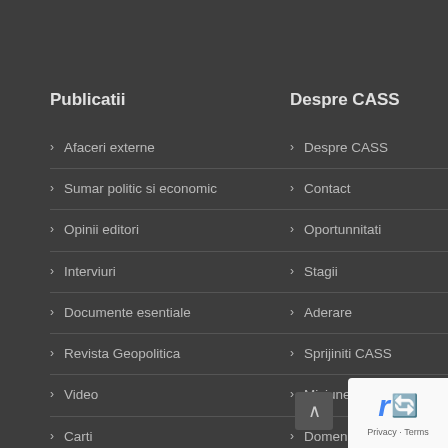Publicatii
Afaceri externe
Sumar politic si economic
Opinii editori
Interviuri
Documente esentiale
Revista Geopolitica
Video
Carti
Newsletter
Despre CASS
Despre CASS
Contact
Oportunnitati
Stagii
Aderare
Sprijiniti CASS
Misiune CASS
Domenii de activitate
Raport anual
Consiliul stiintific